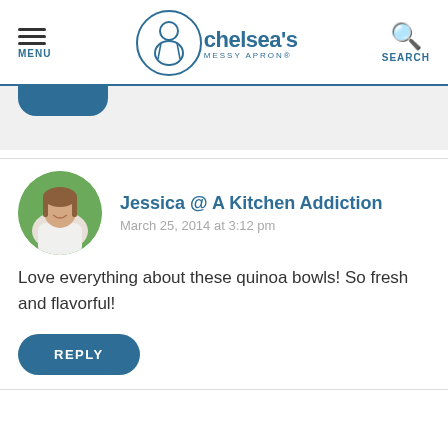MENU | chelsea's MESSY APRON® | SEARCH
[Figure (photo): Partial gray content box with blue pill-shaped button at top]
Jessica @ A Kitchen Addiction
March 25, 2014 at 3:12 pm
Love everything about these quinoa bowls! So fresh and flavorful!
REPLY